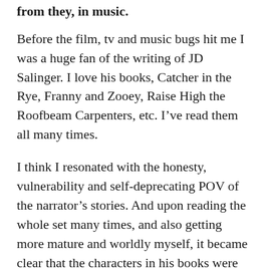from they, in music.
Before the film, tv and music bugs hit me I was a huge fan of the writing of JD Salinger. I love his books, Catcher in the Rye, Franny and Zooey, Raise High the Roofbeam Carpenters, etc. I've read them all many times.
I think I resonated with the honesty, vulnerability and self-deprecating POV of the narrator's stories. And upon reading the whole set many times, and also getting more mature and worldly myself, it became clear that the characters in his books were also having essentially spiritual conversations. Salinger himself spent many years studying